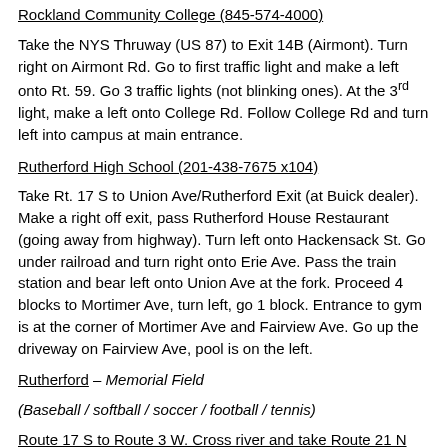Rockland Community College (845-574-4000)
Take the NYS Thruway (US 87) to Exit 14B (Airmont). Turn right on Airmont Rd. Go to first traffic light and make a left onto Rt. 59. Go 3 traffic lights (not blinking ones). At the 3rd light, make a left onto College Rd. Follow College Rd and turn left into campus at main entrance.
Rutherford High School (201-438-7675 x104)
Take Rt. 17 S to Union Ave/Rutherford Exit (at Buick dealer). Make a right off exit, pass Rutherford House Restaurant (going away from highway). Turn left onto Hackensack St. Go under railroad and turn right onto Erie Ave. Pass the train station and bear left onto Union Ave at the fork. Proceed 4 blocks to Mortimer Ave, turn left, go 1 block. Entrance to gym is at the corner of Mortimer Ave and Fairview Ave. Go up the driveway on Fairview Ave, pool is on the left.
Rutherford – Memorial Field
(Baseball / softball / soccer / football / tennis)
Route 17 S to Route 3 W. Cross river and take Route 21 N exit towards Passaic. From Route 21, take exit 10B (Rutherford) and make right over the river on Union ave. Then make left on Darwin Ave. Memorial fFeld is 2 blocks on left.
Saint JosephRegional High School (201-391-8978)